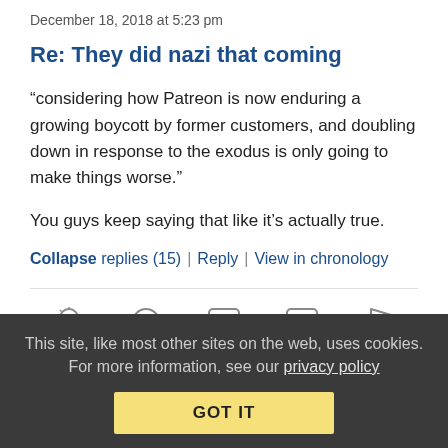December 18, 2018 at 5:23 pm
Re: They did nazi that coming
“considering how Patreon is now enduring a growing boycott by former customers, and doubling down in response to the exodus is only going to make things worse.”
You guys keep saying that like it's actually true.
Collapse replies (15) | Reply | View in chronology
[Figure (infographic): Row of five icon buttons: lightbulb (insightful), laughing emoji (funny), left double-quote speech bubble (quote), right double-quote speech bubble (quote), flag (report)]
Cookie banner: This site, like most other sites on the web, uses cookies. For more information, see our privacy policy. GOT IT button.